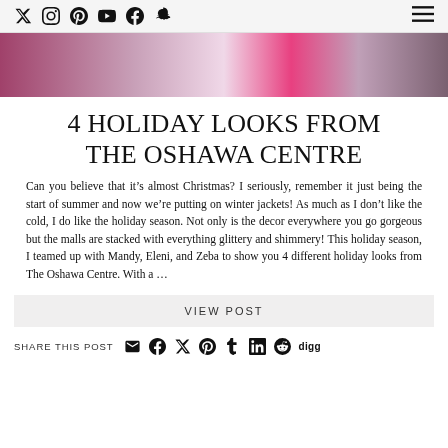Social media icons and hamburger menu
[Figure (photo): Hero image showing fashion/clothing in shades of burgundy, pink, and purple]
4 HOLIDAY LOOKS FROM THE OSHAWA CENTRE
Can you believe that it's almost Christmas? I seriously, remember it just being the start of summer and now we're putting on winter jackets! As much as I don't like the cold, I do like the holiday season. Not only is the decor everywhere you go gorgeous but the malls are stacked with everything glittery and shimmery! This holiday season, I teamed up with Mandy, Eleni, and Zeba to show you 4 different holiday looks from The Oshawa Centre. With a …
VIEW POST
SHARE THIS POST [social share icons: email, facebook, twitter, pinterest, tumblr, linkedin, reddit, digg]